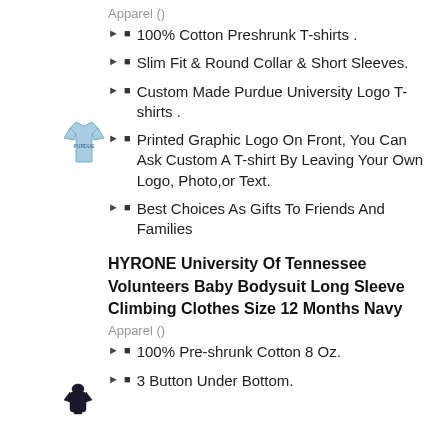Apparel ()
100% Cotton Preshrunk T-shirts .
Slim Fit & Round Collar & Short Sleeves.
[Figure (photo): Light blue t-shirt product image]
Custom Made Purdue University Logo T-shirts .
Printed Graphic Logo On Front, You Can Ask Custom A T-shirt By Leaving Your Own Logo, Photo,or Text.
Best Choices As Gifts To Friends And Families
HYRONE University Of Tennessee Volunteers Baby Bodysuit Long Sleeve Climbing Clothes Size 12 Months Navy
Apparel ()
[Figure (photo): Dark navy baby bodysuit product image]
100% Pre-shrunk Cotton 8 Oz.
3 Button Under Bottom.